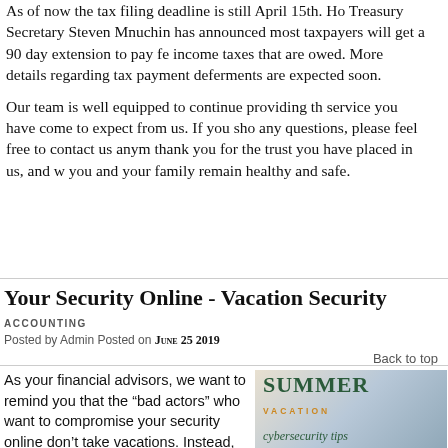As of now the tax filing deadline is still April 15th. However, Treasury Secretary Steven Mnuchin has announced that most taxpayers will get a 90 day extension to pay federal income taxes that are owed. More details regarding the tax payment deferments are expected soon.
Our team is well equipped to continue providing the service you have come to expect from us. If you should have any questions, please feel free to contact us anytime. We thank you for the trust you have placed in us, and we hope you and your family remain healthy and safe.
Your Security Online - Vacation Security
ACCOUNTING
Posted by Admin Posted on June 25 2019
Back to top
As your financial advisors, we want to remind you that the “bad actors” who want to compromise your security online don’t take vacations. Instead, they have an eye out for
[Figure (illustration): Summer vacation cybersecurity tips image with text SUMMER VACATION in teal/green, beach background, cybersecurity tips written in cursive]